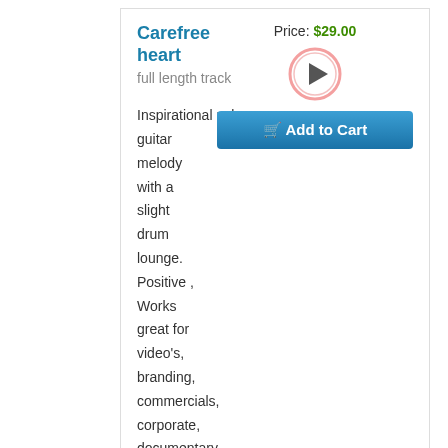Carefree heart
full length track
Price: $29.00
[Figure (other): Play button: circular button with pink/red border and a play triangle icon in the center]
Add to Cart
Inspirational nylon guitar melody with a slight drum lounge. Positive , Works great for video's, branding, commercials, corporate, documentary travel
view available edits and loops for this track